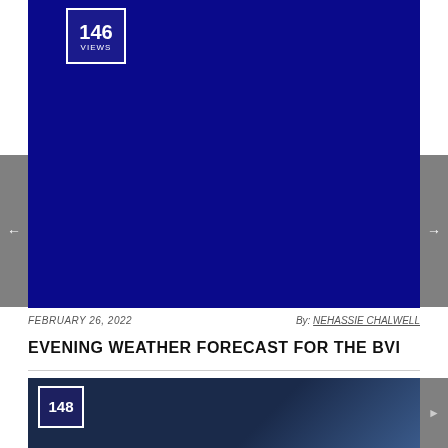[Figure (screenshot): Dark navy blue video thumbnail with a views counter badge showing 146 VIEWS in the top left corner]
FEBRUARY 26, 2022   By: NEHASSIE CHALWELL
EVENING WEATHER FORECAST FOR THE BVI
[Figure (screenshot): Partially visible second video thumbnail with a views counter badge showing 148]